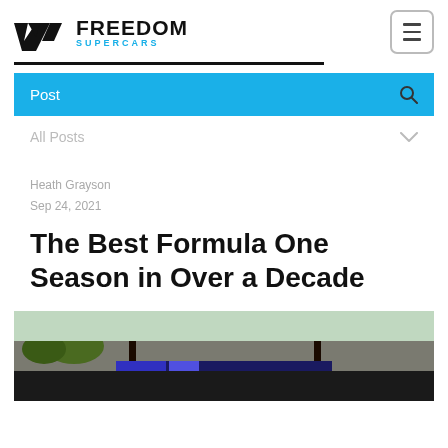Freedom Supercars logo and navigation
Post
All Posts
Heath Grayson
Sep 24, 2021
The Best Formula One Season in Over a Decade
[Figure (photo): Photo of a Formula One pit lane with overhead gantry structure featuring orange and black equipment, taken at a race circuit.]